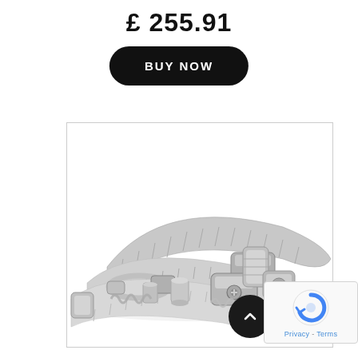£ 255.91
BUY NOW
[Figure (photo): Multiple stainless steel hose clamps piled together on a white background]
[Figure (other): reCAPTCHA badge with Privacy and Terms links]